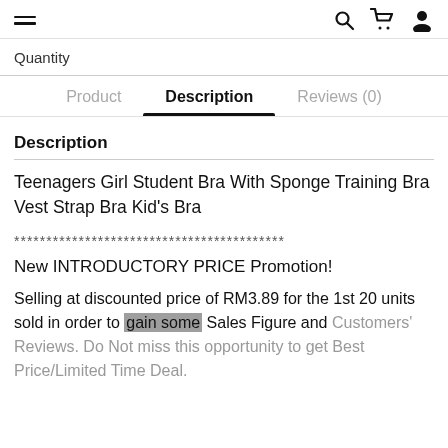≡  [search] [cart] [profile]
Quantity
Product   Description   Reviews (0)
Description
Teenagers Girl Student Bra With Sponge Training Bra Vest Strap Bra Kid's Bra
******************************************
New INTRODUCTORY PRICE Promotion!
Selling at discounted price of RM3.89 for the 1st 20 units sold in order to gain some Sales Figure and Customers' Reviews. Do Not miss this opportunity to get Best Price/Limited Time Deal.